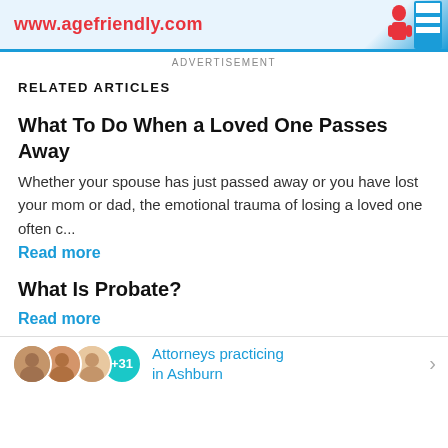[Figure (screenshot): Advertisement banner with www.agefriendly.com URL in red text on light blue background with a person figure icon on the right]
ADVERTISEMENT
RELATED ARTICLES
What To Do When a Loved One Passes Away
Whether your spouse has just passed away or you have lost your mom or dad, the emotional trauma of losing a loved one often c...
Read more
What Is Probate?
Read more
Attorneys practicing in Ashburn